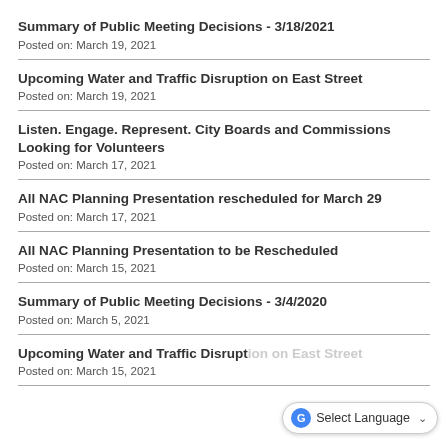Summary of Public Meeting Decisions - 3/18/2021
Posted on: March 19, 2021
Upcoming Water and Traffic Disruption on East Street
Posted on: March 19, 2021
Listen. Engage. Represent. City Boards and Commissions Looking for Volunteers
Posted on: March 17, 2021
All NAC Planning Presentation rescheduled for March 29
Posted on: March 17, 2021
All NAC Planning Presentation to be Rescheduled
Posted on: March 15, 2021
Summary of Public Meeting Decisions - 3/4/2020
Posted on: March 5, 2021
Upcoming Water and Traffic Disruption on East Street
Posted on: March 15, 2021